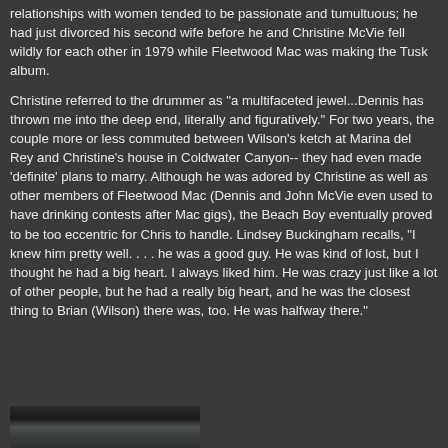relationships with women tended to be passionate and tumultuous; he had just divorced his second wife before he and Christine McVie fell wildly for each other in 1979 while Fleetwood Mac was making the Tusk album.
Christine referred to the drummer as "a multifaceted jewel...Dennis has thrown me into the deep end, literally and figuratively." For two years, the couple more or less commuted between Wilson's ketch at Marina del Rey and Christine's house in Coldwater Canyon-- they had even made 'definite' plans to marry. Although he was adored by Christine as well as other members of Fleetwood Mac (Dennis and John McVie even used to have drinking contests after Mac gigs), the Beach Boy eventually proved to be too eccentric for Chris to handle. Lindsey Buckingham recalls, "I knew him pretty well. . . . he was a good guy. He was kind of lost, but I thought he had a big heart. I always liked him. He was crazy just like a lot of other people, but he had a really big heart, and he was the closest thing to Brian (Wilson) there was, too. He was halfway there."
[Figure (photo): Bottom portion of a photograph, partially visible at the bottom of the page]